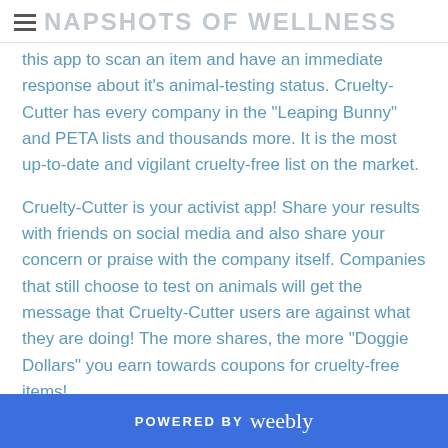SNAPSHOTS OF WELLNESS
this app to scan an item and have an immediate response about it's animal-testing status. Cruelty-Cutter has every company in the "Leaping Bunny" and PETA lists and thousands more. It is the most up-to-date and vigilant cruelty-free list on the market.
Cruelty-Cutter is your activist app! Share your results with friends on social media and also share your concern or praise with the company itself. Companies that still choose to test on animals will get the message that Cruelty-Cutter users are against what they are doing! The more shares, the more “Doggie Dollars” you earn towards coupons for cruelty-free items!
POWERED BY weebly